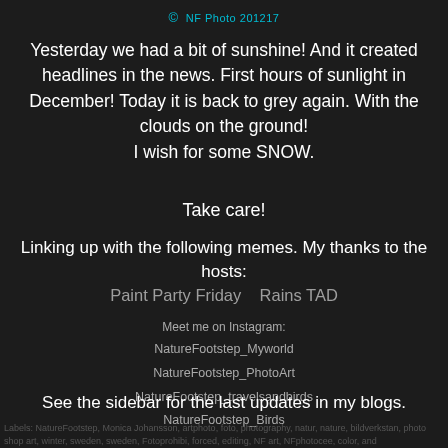© NF Photo 201217
Yesterday we had a bit of sunshine! And it created headlines in the news. First hours of sunlight in December! Today it is back to grey again. With the clouds on the ground! I wish for some SNOW.
Take care!
Linking up with the following memes. My thanks to the hosts: Paint Party Friday   Rains TAD
Meet me on Instagram:
NatureFootstep_Myworld
NatureFootstep_PhotoArt
NatureFootstep_travelsandbirds
NatureFootstep_Birds
See the sidebar for the last updates in my blogs.
Labels: NatureFootstep, Monica Johansson, artphoto, foto, photography, natur, nature, bildverkstan, photo shop art, winter, sweden, sweden, Fotoprohibi, forced, editing, NF art, NFphotocee, color, and photo shop art, winter...